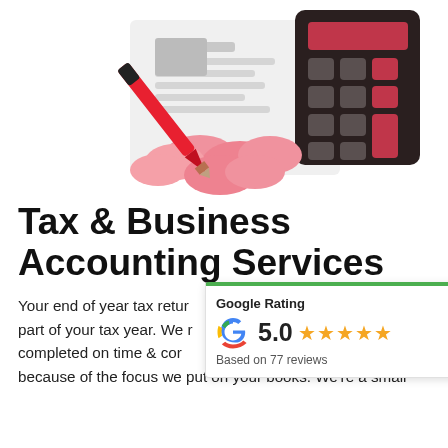[Figure (illustration): Illustration of a red pen writing on a document with pink coins/discs scattered around, next to a dark calculator with red keys, on a white background.]
Tax & Business Accounting Services
Your end of year tax return ... ued part of your tax year. We ... completed on time & cor... his because of the focus we put on your books. We're a small
[Figure (infographic): Google Rating card showing 5.0 stars based on 77 reviews, with a green top border and the Google 'G' logo.]